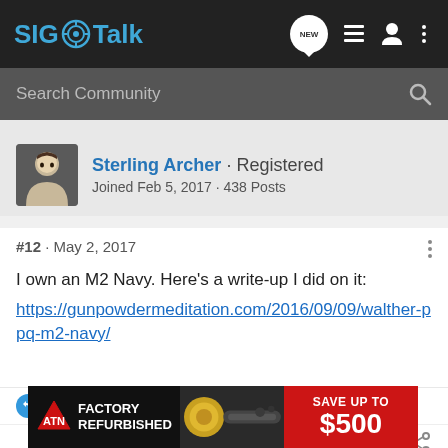SIG Talk
Search Community
Sterling Archer · Registered
Joined Feb 5, 2017 · 438 Posts
#12 · May 2, 2017
I own an M2 Navy. Here's a write-up I did on it:
https://gunpowdermeditation.com/2016/09/09/walther-ppq-m2-navy/
sevycat and saudadeii
[Figure (screenshot): ATN Factory Refurbished advertisement banner: Save up to $500]